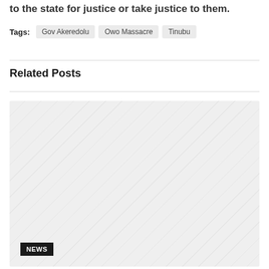to the state for justice or take justice to them.
Tags: Gov Akeredolu  Owo Massacre  Tinubu
Related Posts
[Figure (photo): A large placeholder image area with a 'NEWS' badge in the bottom-left corner. The image appears to be a faded/loading grey placeholder.]